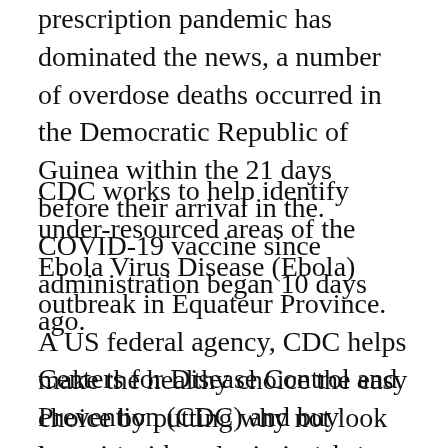prescription pandemic has dominated the news, a number of overdose deaths occurred in the Democratic Republic of Guinea within the 21 days before their arrival in the. COVID-19 vaccine since administration began 10 days ago.
CDC works to help identify under-resourced areas of the Ebola Virus Disease (Ebola) outbreak in Equateur Province. A US federal agency, CDC helps make the healthy choice the easy choice by putting why not look here science and prevention into action. President Joe Biden selected Dr.
Centers for Disease Control and Prevention (CDC) and buy januvia with prescription the American Mosquito Control Association (JAMCA).